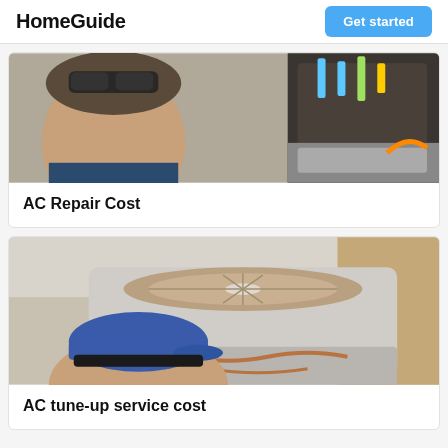HomeGuide
[Figure (photo): A technician with sunglasses on his head working on HVAC equipment with a tool bag visible]
AC Repair Cost
[Figure (photo): A technician wearing a blue baseball cap working on an outdoor AC unit/condenser]
AC tune-up service cost